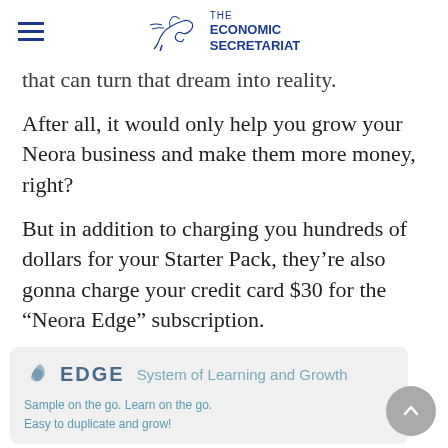THE ECONOMIC SECRETARIAT
that can turn that dream into reality.
After all, it would only help you grow your Neora business and make them more money, right?
But in addition to charging you hundreds of dollars for your Starter Pack, they're also gonna charge your credit card $30 for the “Neora Edge” subscription.
[Figure (screenshot): EDGE System of Learning and Growth promotional box showing logo, tagline, and partial image of laptop and people icons with text 'Sample on the go. Learn on the go. Easy to duplicate and grow!']